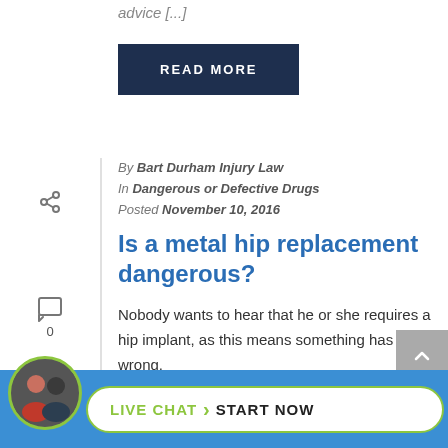advice [...]
READ MORE
By Bart Durham Injury Law
In Dangerous or Defective Drugs
Posted November 10, 2016
Is a metal hip replacement dangerous?
Nobody wants to hear that he or she requires a hip implant, as this means something has gone wrong.
LIVE CHAT  START NOW